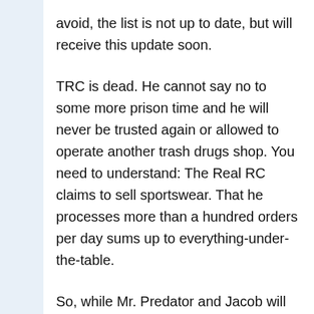avoid, the list is not up to date, but will receive this update soon.
TRC is dead. He cannot say no to some more prison time and he will never be trusted again or allowed to operate another trash drugs shop. You need to understand: The Real RC claims to sell sportswear. That he processes more than a hundred orders per day sums up to everything-under-the-table.
So, while Mr. Predator and Jacob will be fine, other vendors sourcing with him, like Chem-Cloud or FunCaps, are f.u.c.k.e.d